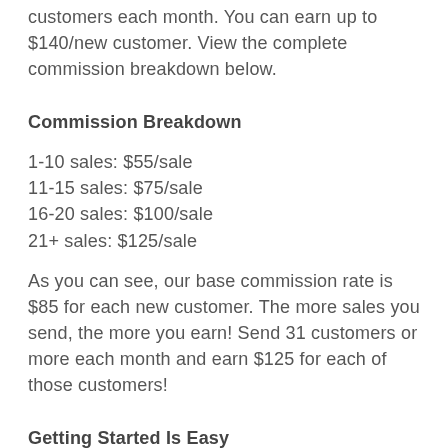customers each month. You can earn up to $140/new customer. View the complete commission breakdown below.
Commission Breakdown
1-10 sales: $55/sale
11-15 sales: $75/sale
16-20 sales: $100/sale
21+ sales: $125/sale
As you can see, our base commission rate is $85 for each new customer. The more sales you send, the more you earn! Send 31 customers or more each month and earn $125 for each of those customers!
Getting Started Is Easy